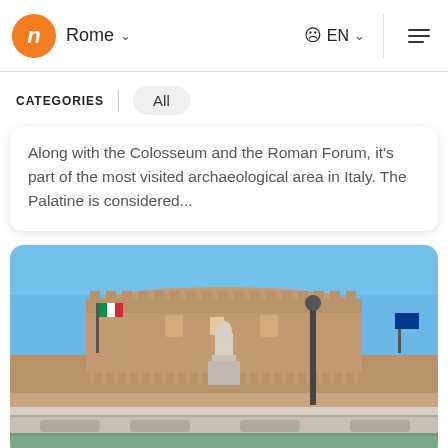n  Rome ∨   ⊕ EN ∨  ≡
CATEGORIES   All
Along with the Colosseum and the Roman Forum, it's part of the most visited archaeological area in Italy. The Palatine is considered...
[Figure (photo): Photo of Castel Sant'Angelo in Rome — a large cylindrical fortress with statues on a bridge in the foreground and a blue sky background, viewed from across the Tiber river.]